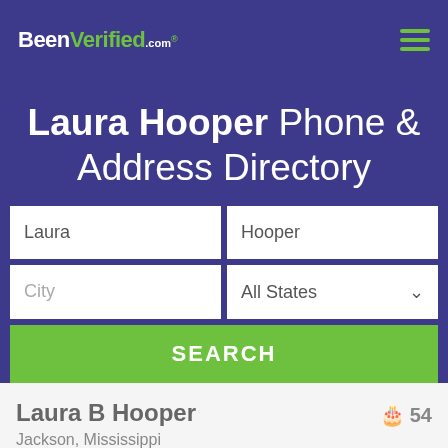BeenVerified.com
Laura Hooper Phone & Address Directory
Laura | Hooper
City | All States
SEARCH
Laura B Hooper  54
Jackson, Mississippi